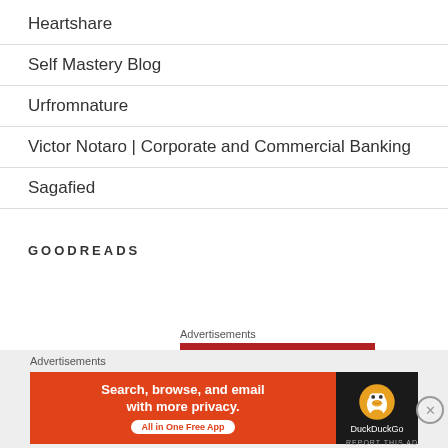Heartshare
Self Mastery Blog
Urfromnature
Victor Notaro | Corporate and Commercial Banking
Sagafied
GOODREADS
Advertisements
[Figure (illustration): Longreads advertisement banner with red background and circular L logo]
Advertisements
[Figure (illustration): DuckDuckGo advertisement: Search, browse, and email with more privacy. All in One Free App. Shows DuckDuckGo duck logo on dark background.]